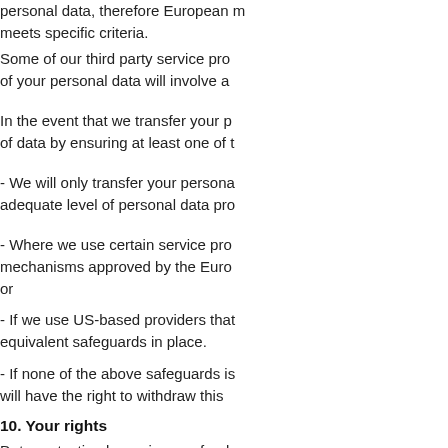personal data, therefore European ... meets specific criteria.
Some of our third party service pro... of your personal data will involve a
In the event that we transfer your p... of data by ensuring at least one of t
- We will only transfer your persona... adequate level of personal data pro
- Where we use certain service pro... mechanisms approved by the Euro... or
- If we use US-based providers that... equivalent safeguards in place.
- If none of the above safeguards is... will have the right to withdraw this
10. Your rights
Data protection laws give you fund... access, correction, erasure, restrict... ground of processing is consent) to